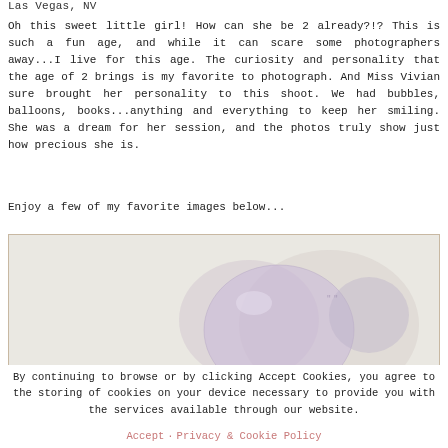Las Vegas, NV
Oh this sweet little girl! How can she be 2 already?!? This is such a fun age, and while it can scare some photographers away...I live for this age. The curiosity and personality that the age of 2 brings is my favorite to photograph. And Miss Vivian sure brought her personality to this shoot. We had bubbles, balloons, books...anything and everything to keep her smiling. She was a dream for her session, and the photos truly show just how precious she is.
Enjoy a few of my favorite images below...
[Figure (photo): A soft-focus photo of a child with balloons or bubbles, lavender/purple tones, light background]
By continuing to browse or by clicking Accept Cookies, you agree to the storing of cookies on your device necessary to provide you with the services available through our website.
Accept   Privacy & Cookie Policy